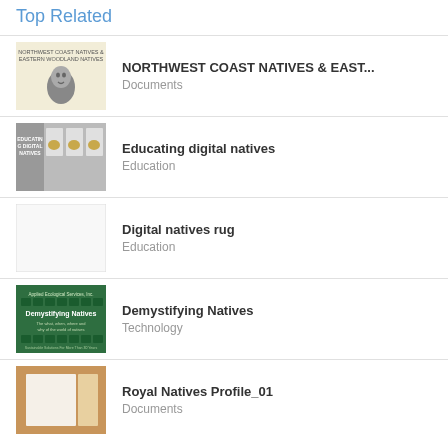Top Related
NORTHWEST COAST NATIVES & EAST...
Documents
Educating digital natives
Education
Digital natives rug
Education
Demystifying Natives
Technology
Royal Natives Profile_01
Documents